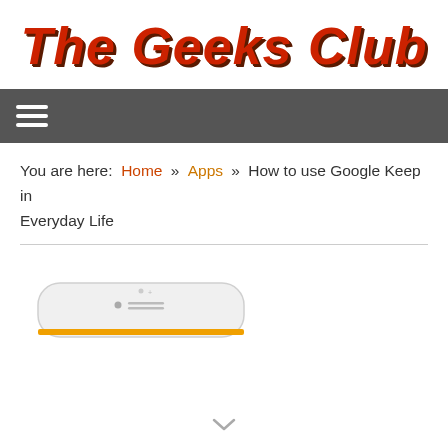The Geeks Club
You are here: Home » Apps » How to use Google Keep in Everyday Life
[Figure (screenshot): Partial screenshot of a smartphone bottom edge showing a white device with a yellow accent stripe and a small camera or sensor dot and speaker grille.]